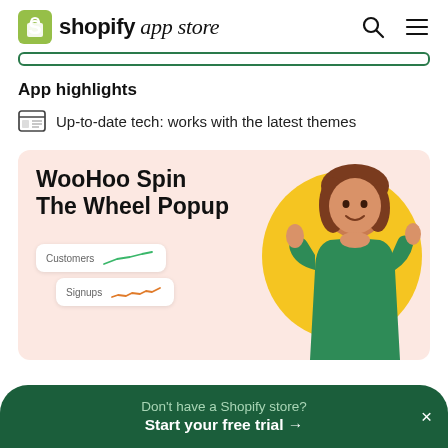shopify app store
App highlights
Up-to-date tech: works with the latest themes
[Figure (illustration): WooHoo Spin The Wheel Popup promotional banner with a smiling woman in green outfit giving thumbs up, with Customers and Signups stat cards shown, on a pink background with yellow circle accent]
Don't have a Shopify store?
Start your free trial →